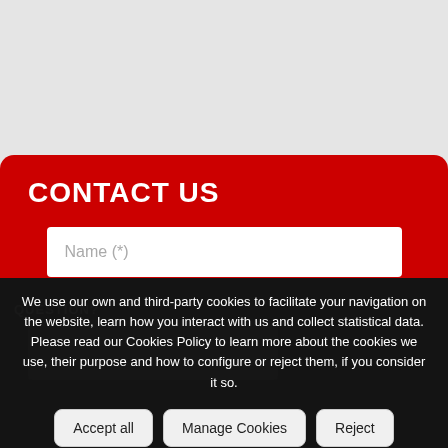[Figure (screenshot): Gray background area at top of page]
CONTACT US
Name (*)
Email (*)
We use our own and third-party cookies to facilitate your navigation on the website, learn how you interact with us and collect statistical data. Please read our Cookies Policy to learn more about the cookies we use, their purpose and how to configure or reject them, if you consider it so.
Accept all
Manage Cookies
Reject
QUESTION?